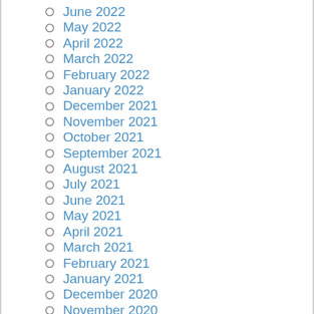June 2022
May 2022
April 2022
March 2022
February 2022
January 2022
December 2021
November 2021
October 2021
September 2021
August 2021
July 2021
June 2021
May 2021
April 2021
March 2021
February 2021
January 2021
December 2020
November 2020